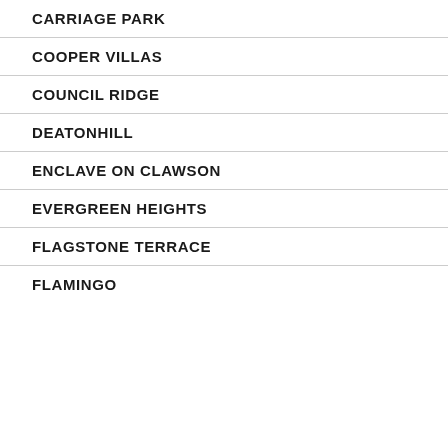CARRIAGE PARK
COOPER VILLAS
COUNCIL RIDGE
DEATONHILL
ENCLAVE ON CLAWSON
EVERGREEN HEIGHTS
FLAGSTONE TERRACE
FLAMINGO